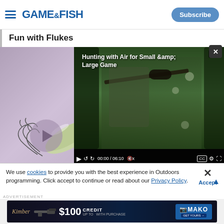GAME&FISH | Subscribe
Fun with Flukes
[Figure (screenshot): Video player overlay showing 'Hunting with Air for Small & Large Game' with a hunter in camouflage aiming a scoped rifle in a forest setting. Video controls show 00:00 / 06:10.]
[Figure (photo): Fishing lure (fluke-style soft plastic bait) close-up photo on purple/mauve background]
We use cookies to provide you with the best experience in Outdoors programming. Click accept to continue or read about our Privacy Policy.
Advertisement
[Figure (infographic): Kimber advertisement banner: $100 CREDIT UP TO WITH PURCHASE - MAKO GET YOURS]